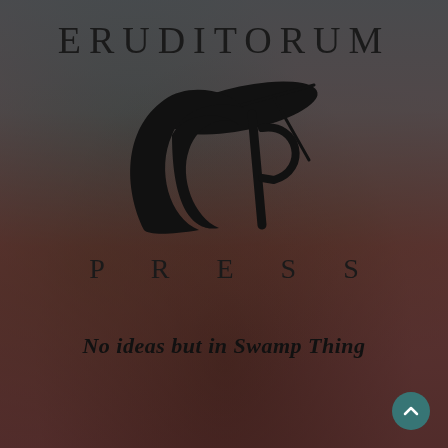[Figure (logo): Eruditorum Press logo page with classical painting background overlay, featuring the EP monogram logo, ERUDITORUM PRESS text, and tagline]
ERUDITORUM
[Figure (logo): Eruditorum Press EP monogram logo in black — stylized cursive EP letters with swooping lines]
P R E S S
No ideas but in Swamp Thing